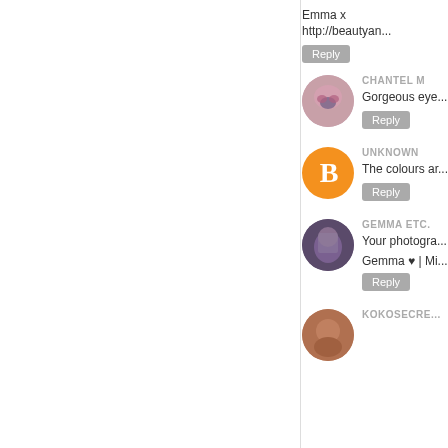Emma x
http://beautyan...
Reply
CHANTEL M
Gorgeous eye...
Reply
UNKNOWN
The colours ar...
Reply
GEMMA ETC.
Your photogra...
Gemma ♥ | Mi...
Reply
KOKOSECRE...